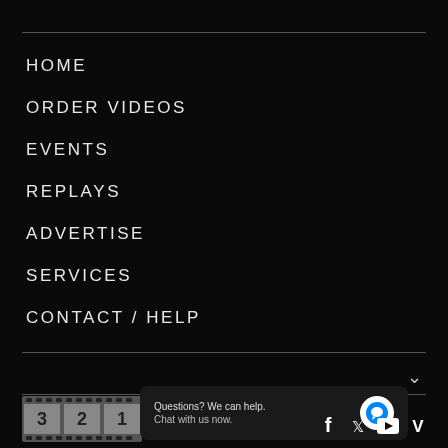HOME
ORDER VIDEOS
EVENTS
REPLAYS
ADVERTISE
SERVICES
CONTACT / HELP
[Figure (logo): Film countdown logo with frames showing 3 2 1]
Questions? We can help. Chat with us now.
[Figure (infographic): Social media icons: Facebook, Twitter, YouTube, Vimeo]